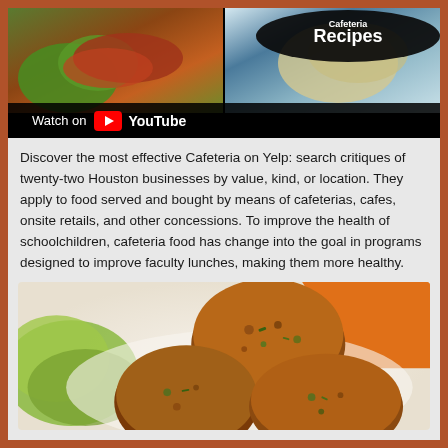[Figure (screenshot): YouTube video thumbnail showing cafeteria/food recipes with 'Recipes' text overlay and 'Watch on YouTube' bar at bottom]
Discover the most effective Cafeteria on Yelp: search critiques of twenty-two Houston businesses by value, kind, or location. They apply to food served and bought by means of cafeterias, cafes, onsite retails, and other concessions. To improve the health of schoolchildren, cafeteria food has change into the goal in programs designed to improve faculty lunches, making them more healthy.
[Figure (photo): Food photo showing vegetable fritters or pakoras with green leafy garnish and orange carrot slices on a white plate]